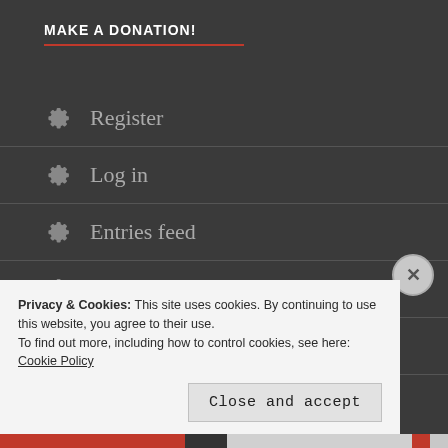MAKE A DONATION!
Register
Log in
Entries feed
Comments feed
WordPress.com
Privacy & Cookies: This site uses cookies. By continuing to use this website, you agree to their use.
To find out more, including how to control cookies, see here: Cookie Policy
Close and accept